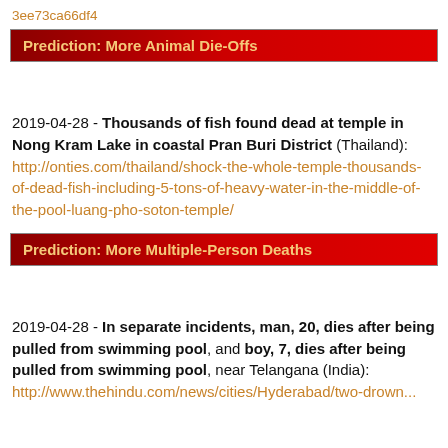3ee73ca66df4
Prediction: More Animal Die-Offs
2019-04-28 - Thousands of fish found dead at temple in Nong Kram Lake in coastal Pran Buri District (Thailand): http://onties.com/thailand/shock-the-whole-temple-thousands-of-dead-fish-including-5-tons-of-heavy-water-in-the-middle-of-the-pool-luang-pho-soton-temple/
Prediction: More Multiple-Person Deaths
2019-04-28 - In separate incidents, man, 20, dies after being pulled from swimming pool, and boy, 7, dies after being pulled from swimming pool, near Telangana (India): http://www.thehindu.com/news/cities/Hyderabad/two-drown...